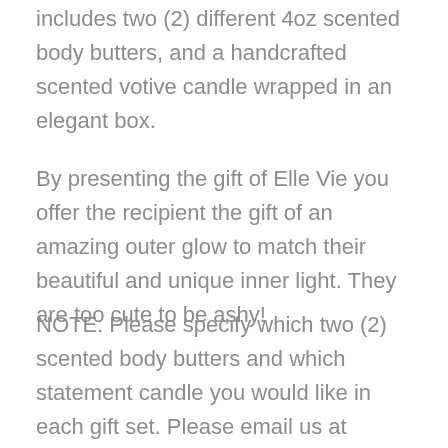includes two (2) different 4oz scented body butters, and a handcrafted scented votive candle wrapped in an elegant box.
By presenting the gift of Elle Vie you offer the recipient the gift of an amazing outer glow to match their beautiful and unique inner light. They are too cute to be ashy!
NOTE: Please specify which two (2) scented body butters and which statement candle you would like in each gift set. Please email us at help@myellevie.com if you have any questions.